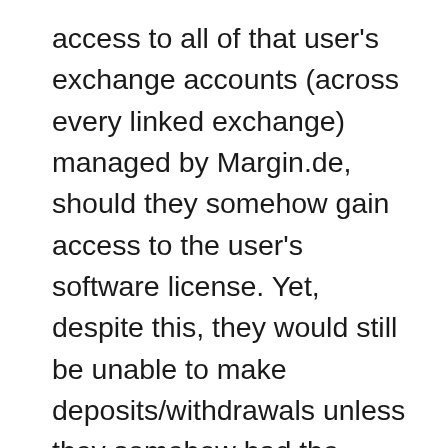access to all of that user's exchange accounts (across every linked exchange) managed by Margin.de, should they somehow gain access to the user's software license. Yet, despite this, they would still be unable to make deposits/withdrawals unless they somehow had the password to the exchange itself. For this reason, it is highly imperative to always use a highly cryptographic password that is not used on any other website. With the jarring amount of data leaks from credit bureaus and financial institutions in recent years, it is very important to